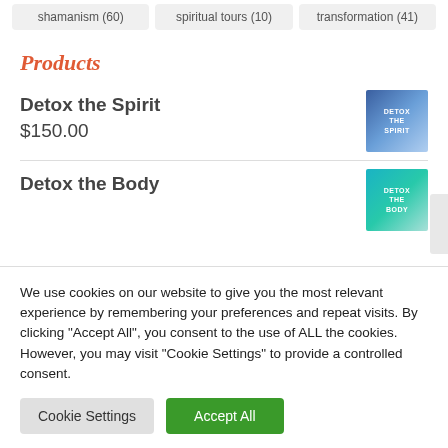shamanism (60)
spiritual tours (10)
transformation (41)
Products
Detox the Spirit
$150.00
[Figure (photo): Thumbnail image for Detox the Spirit product, blue/purple tones with DETOX text]
Detox the Body
[Figure (photo): Thumbnail image for Detox the Body product, teal/green tones with DETOX text]
We use cookies on our website to give you the most relevant experience by remembering your preferences and repeat visits. By clicking "Accept All", you consent to the use of ALL the cookies. However, you may visit "Cookie Settings" to provide a controlled consent.
Cookie Settings
Accept All